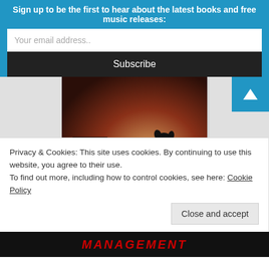Sign up to be the first to hear about the latest books and free music releases:
Your email address..
Subscribe
[Figure (screenshot): Music player card showing a dark video thumbnail with a dog silhouette and a play button overlay]
Short and to the Point (EP)
by Ray Kosmick and his Por…
1.  To the Point	00:00 / 05:44
Privacy & Cookies: This site uses cookies. By continuing to use this website, you agree to their use.
To find out more, including how to control cookies, see here: Cookie Policy
Close and accept